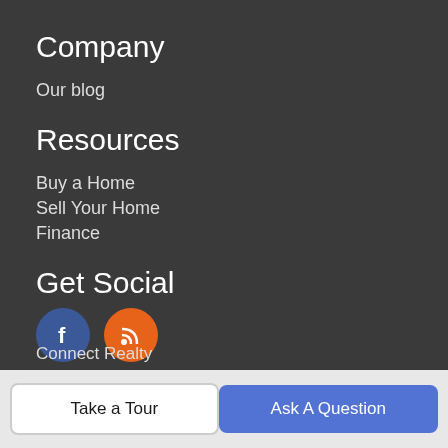Company
Our blog
Resources
Buy a Home
Sell Your Home
Finance
Get Social
[Figure (illustration): Facebook icon circle (blue) and RSS feed icon circle (orange)]
About Us
Take a Tour
Ask A Question
Connect Realty